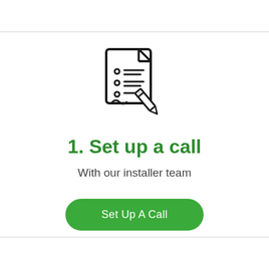[Figure (illustration): Icon of a document/checklist with a pencil overlaid, outlined in black on white background]
1. Set up a call
With our installer team
Set Up A Call